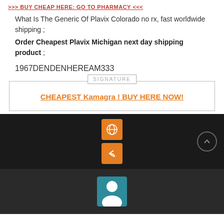>>> BUY CHEAP HERE: GO TO PHARMACY <<<
What Is The Generic Of Plavix Colorado no rx, fast worldwide shipping ;
Order Cheapest Plavix Michigan next day shipping product ;
1967DENDENHEREAM333
SIGNATURE
CHEAPEST Kamagra ! BUY HERE NOW!
[Figure (infographic): Dark bar with orange globe icon button, orange reply/back icon button, and a circular up-arrow icon on the right]
[Figure (infographic): Dark grey bar with a teal user/profile icon box at center]